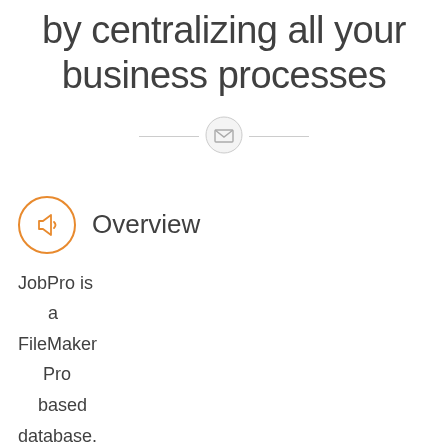by centralizing all your business processes
[Figure (illustration): Decorative divider with a small envelope/mail icon inside a light circle, flanked by thin horizontal lines on each side]
Overview
JobPro is a FileMaker Pro based database.